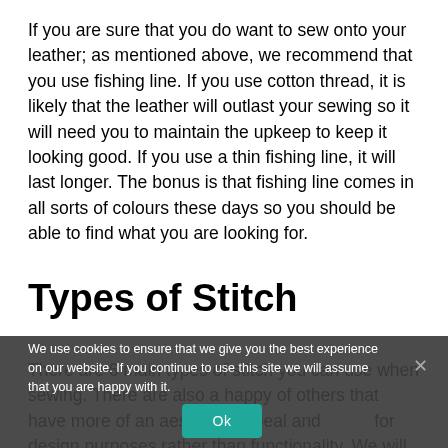If you are sure that you do want to sew onto your leather; as mentioned above, we recommend that you use fishing line. If you use cotton thread, it is likely that the leather will outlast your sewing so it will need you to maintain the upkeep to keep it looking good. If you use a thin fishing line, it will last longer. The bonus is that fishing line comes in all sorts of colours these days so you should be able to find what you are looking for.
Types of Stitch
There are 6 main types of stitch you can use when sewing. There are also a happy of others that have more of an aesthetic appeal and for design purposes rather than functionality. We will just take a look at the 6
We use cookies to ensure that we give you the best experience on our website. If you continue to use this site we will assume that you are happy with it.